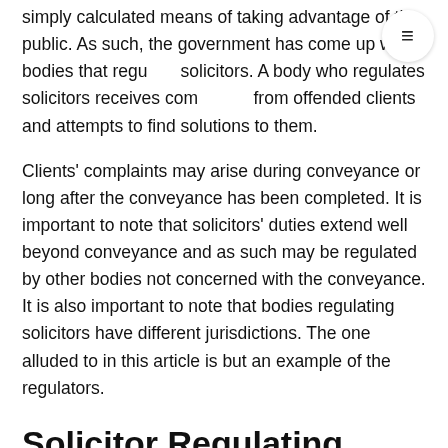simply calculated means of taking advantage of the public. As such, the government has come up with bodies that regulate solicitors. A body who regulates solicitors receives complaints from offended clients and attempts to find solutions to them.
Clients' complaints may arise during conveyance or long after the conveyance has been completed. It is important to note that solicitors' duties extend well beyond conveyance and as such may be regulated by other bodies not concerned with the conveyance. It is also important to note that bodies regulating solicitors have different jurisdictions. The one alluded to in this article is but an example of the regulators.
Solicitor Regulating Authority (SRA)
The chief regulator of solicitors is the Solicitor Regulating Authority. It regulates solicitors within England and Wales. It is based in Birmingham but they have offices in other cities.